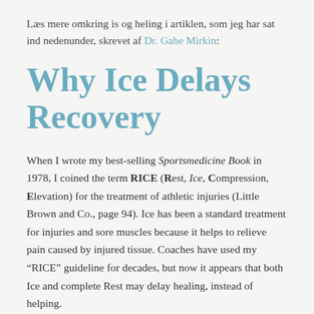Læs mere omkring is og heling i artiklen, som jeg har sat ind nedenunder, skrevet af Dr. Gabe Mirkin:
Why Ice Delays Recovery
When I wrote my best-selling Sportsmedicine Book in 1978, I coined the term RICE (Rest, Ice, Compression, Elevation) for the treatment of athletic injuries (Little Brown and Co., page 94). Ice has been a standard treatment for injuries and sore muscles because it helps to relieve pain caused by injured tissue. Coaches have used my “RICE” guideline for decades, but now it appears that both Ice and complete Rest may delay healing, instead of helping.